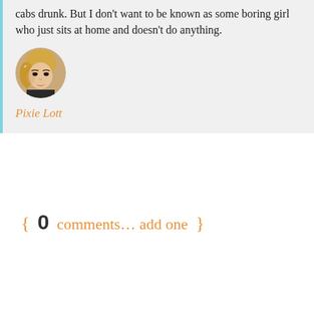cabs drunk. But I don't want to be known as some boring girl who just sits at home and doesn't do anything.
[Figure (photo): Circular portrait photo of Pixie Lott, a blonde woman with styled hair and makeup]
Pixie Lott
{ 0 comments… add one }